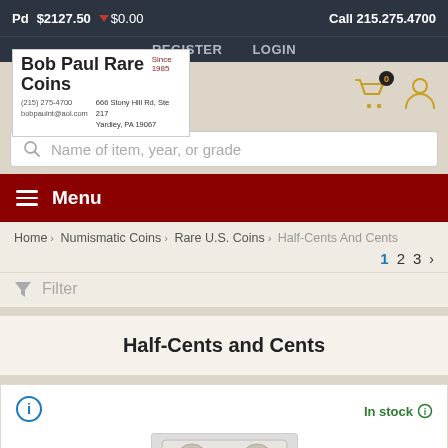Pd $2127.50 ▼ $0.00   Call 215.275.4700
REGISTER  LOGIN
[Figure (logo): Bob Paul Rare Coins logo with address (215) 275-4700, bobpaulnt@aol.com, 666 Stony Hill Rd, Ste 217, Yardley, PA 19067, Since 1985]
Name of item, year, or grade
Menu
Home > Numismatic Coins > Rare U.S. Coins > Half-Cents And Cents
1  2  3  >
Filter
Half-Cents and Cents
In stock